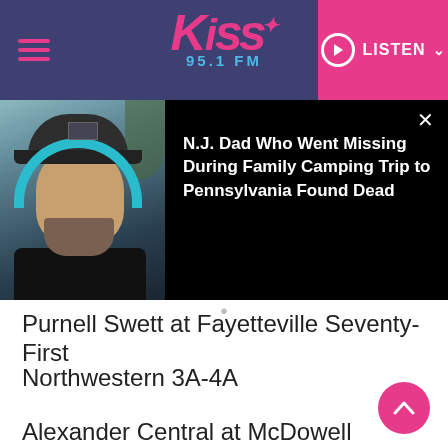Kiss 95.1 FM — LISTEN
[Figure (screenshot): Popup overlay showing a man with a cap and teal headphones on dark background, with news headline text]
N.J. Dad Who Went Missing During Family Camping Trip to Pennsylvania Found Dead
Purnell Swett at Fayetteville Seventy-First
Northwestern 3A-4A
Alexander Central at McDowell
South Caldwell at Freedom